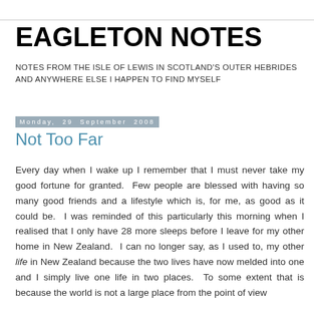EAGLETON NOTES
NOTES FROM THE ISLE OF LEWIS IN SCOTLAND'S OUTER HEBRIDES AND ANYWHERE ELSE I HAPPEN TO FIND MYSELF
Monday, 29 September 2008
Not Too Far
Every day when I wake up I remember that I must never take my good fortune for granted. Few people are blessed with having so many good friends and a lifestyle which is, for me, as good as it could be. I was reminded of this particularly this morning when I realised that I only have 28 more sleeps before I leave for my other home in New Zealand. I can no longer say, as I used to, my other life in New Zealand because the two lives have now melded into one and I simply live one life in two places. To some extent that is because the world is not a large place from the point of view